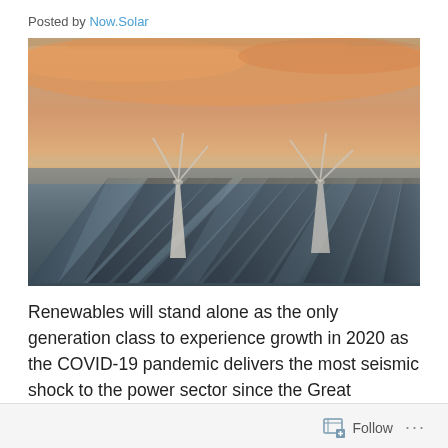Posted by Now.Solar
[Figure (photo): Aerial view of a large solar panel farm with two wind turbines in the background under a dramatic orange and pink sunset sky with haze]
Renewables will stand alone as the only generation class to experience growth in 2020 as the COVID-19 pandemic delivers the most seismic shock to the power sector since the Great Depression.That is the key takeaway from the